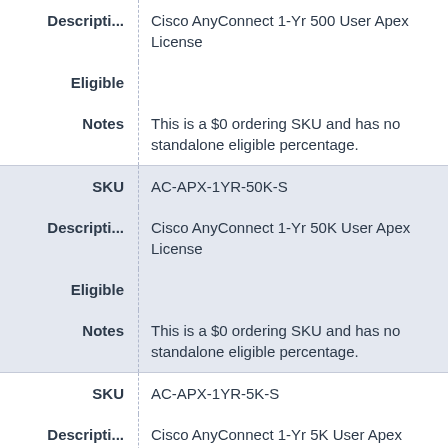| Field | Value |
| --- | --- |
| Descripti... | Cisco AnyConnect 1-Yr 500 User Apex License |
| Eligible |  |
| Notes | This is a $0 ordering SKU and has no standalone eligible percentage. |
| SKU | AC-APX-1YR-50K-S |
| Descripti... | Cisco AnyConnect 1-Yr 50K User Apex License |
| Eligible |  |
| Notes | This is a $0 ordering SKU and has no standalone eligible percentage. |
| SKU | AC-APX-1YR-5K-S |
| Descripti... | Cisco AnyConnect 1-Yr 5K User Apex |